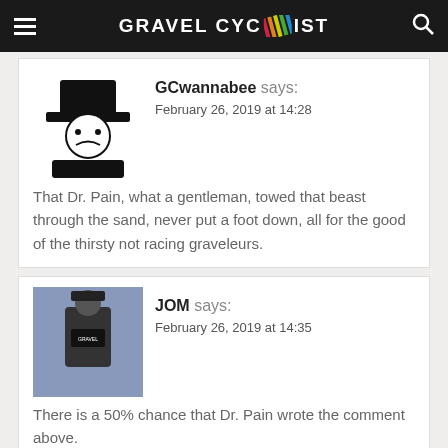GRAVEL CYCLIST
GCwannabee says:
February 26, 2019 at 14:28

That Dr. Pain, what a gentleman, towed that beast through the sand, never put a foot down, all for the good of the thirsty not racing graveleurs.
JOM says:
February 26, 2019 at 14:35

There is a 50% chance that Dr. Pain wrote the comment above.
[Figure (photo): Advertisement banner showing airplane being loaded with cargo, with text overlay reading WITHOUT REGARD TO POLITICS, RELIGION, OR ABILITY TO PAY]